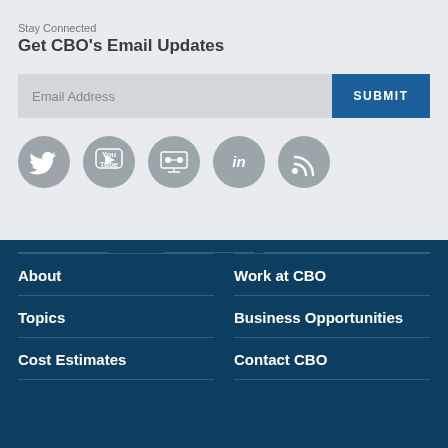Stay Connected
Get CBO's Email Updates
Email Address
SUBMIT
[Figure (other): Social media icons: Twitter, YouTube, SlideShare, LinkedIn, RSS feed — all grey circular icons]
About
Work at CBO
Topics
Business Opportunities
Cost Estimates
Contact CBO